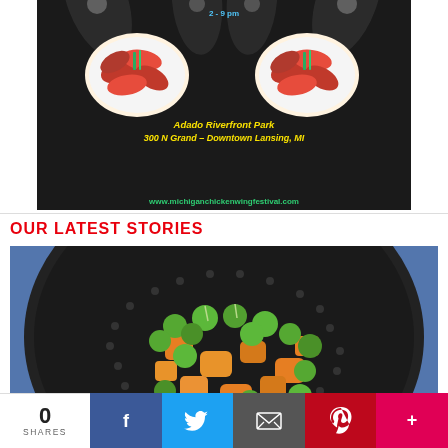[Figure (photo): Michigan Chicken Wing Festival event flyer with dark background, spotlight effects, plates of chicken wings, event details for Adado Riverfront Park, 300 N Grand - Downtown Lansing, MI. Text describes two fun filled days with music, wing eating contest, VIP beer & wine tent. Website: www.michiganchickenwingfestival.com]
OUR LATEST STORIES
[Figure (photo): Close-up photo of green peas and orange/carrot chunks in a dark steamer basket on a blue surface]
0 SHARES
[Figure (infographic): Social media sharing bar with Facebook, Twitter, Email, Pinterest, and More buttons]